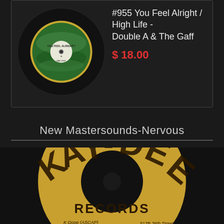[Figure (photo): Vinyl record product listing showing a green record label with 'You Feel Alright?' text and wavy design]
#955 You Feel Alright / High Life - Double A & The Gaff
$ 18.00
New Mastersounds-Nervous
[Figure (photo): Kay-Dee Records vinyl 45 RPM record label. Black and tan/gold colored label with large 'KAY-DEE' text in tan letters and 'RECORDS' below. Shows: K-Dope (ASCAP), That Boy Music (BMI), 513B 36th Street, Union City, NJ 07087, KD-001 SIDE A, 45 RPM, Produced by: Keb Darge &]